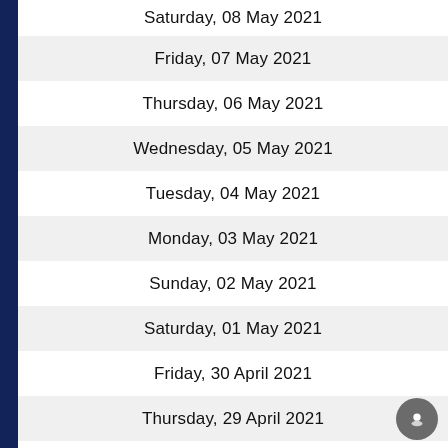Saturday, 08 May 2021
Friday, 07 May 2021
Thursday, 06 May 2021
Wednesday, 05 May 2021
Tuesday, 04 May 2021
Monday, 03 May 2021
Sunday, 02 May 2021
Saturday, 01 May 2021
Friday, 30 April 2021
Thursday, 29 April 2021
Wednesday, 28 April 2021